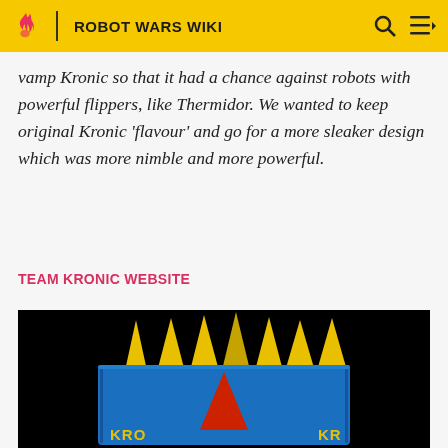ROBOT WARS WIKI
vamp Kronic so that it had a chance against robots with powerful flippers, like Thermidor. We wanted to keep original Kronic 'flavour' and go for a more sleaker design which was more nimble and more powerful.
TEAM KRONIC WEBSITE
[Figure (photo): Photo of the Kronic robot, a blue armored robot with yellow triangular spikes on top and a red star emblem, shown against a black background]